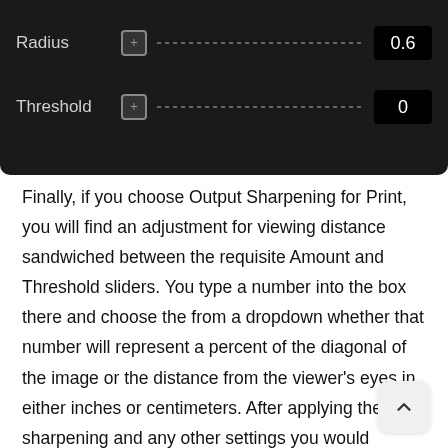[Figure (screenshot): Dark UI panel showing Radius and Threshold sliders. Radius has value 0.6, Threshold has value 0.]
Finally, if you choose Output Sharpening for Print, you will find an adjustment for viewing distance sandwiched between the requisite Amount and Threshold sliders. You type a number into the box there and choose the from a dropdown whether that number will represent a percent of the diagonal of the image or the distance from the viewer's eyes in either inches or centimeters. After applying the sharpening and any other settings you would choose for your export, you can process the image, and it will be ready for use.
One of the lovely things about Capture One is that the such a wealth of content that Phase One has provided